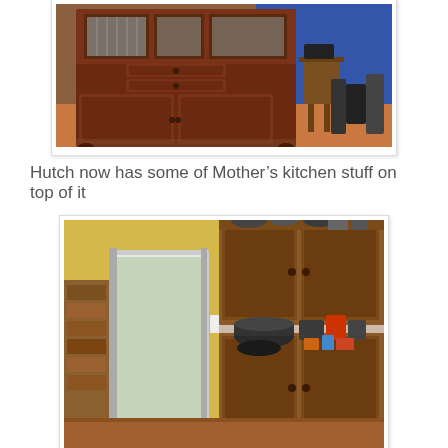[Figure (photo): A large dark wood hutch/china cabinet with glass doors on top showing dishes, multiple drawers and cabinet doors on the bottom, set in a room with orange flooring and a blue wall. A small table and exercise equipment visible in the background.]
Hutch now has some of Mother’s kitchen stuff on top of it
[Figure (photo): A wooden hutch cabinet with upper cabinet doors and a lower counter area covered in kitchen items including pots, pans, and various cooking utensils. The hutch is set in a yellow-walled kitchen with a door/window visible on the left side. Bookshelves visible on the far left.]